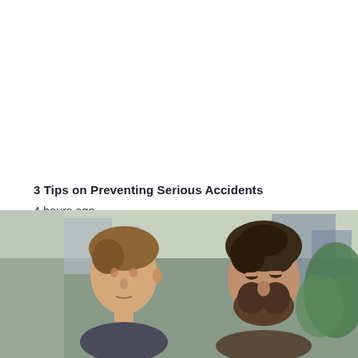3 Tips on Preventing Serious Accidents
4 hours ago
STAPLES PRODUCTS
7 hours ago
[Figure (photo): Two men in conversation outdoors, one younger with short brown hair on the left, one older with curly dark hair and beard on the right, with a blurred urban background]